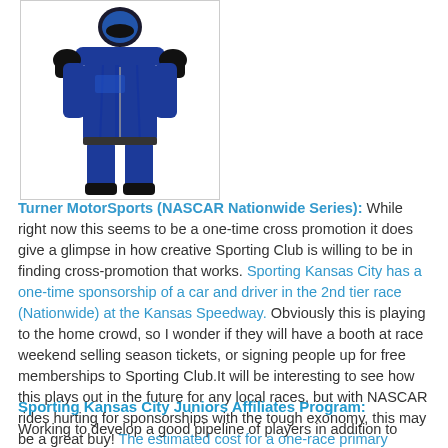[Figure (illustration): Illustration of a racing driver's suit/uniform in dark blue color with white accents and black gloves, displayed as a full-body front view.]
Turner MotorSports (NASCAR Nationwide Series): While right now this seems to be a one-time cross promotion it does give a glimpse in how creative Sporting Club is willing to be in finding cross-promotion that works. Sporting Kansas City has a one-time sponsorship of a car and driver in the 2nd tier race (Nationwide) at the Kansas Speedway. Obviously this is playing to the home crowd, so I wonder if they will have a booth at race weekend selling season tickets, or signing people up for free memberships to Sporting Club.It will be interesting to see how this plays out in the future for any local races, but with NASCAR rides hurting for sponsorships with the tough exonomy, this may be a great buy! The estimated cost for a one-race primary sponsorship in the NNS is $25-50,000.
Sporting Kansas City Juniors Affiliates Program:
Working to develop a good pipeline of players in addition to